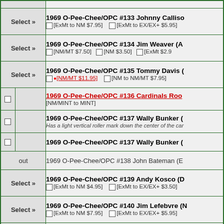|  | (top partial row) |
| Select » | 1969 O-Pee-Chee/OPC #133 Johnny Calliso... [ExMt to NM $7.95] [ExMt to EX/EX+ $5.95] |
| Select » | 1969 O-Pee-Chee/OPC #134 Jim Weaver (A... [NM/MT $7.50] [NM $3.50] [ExMt $2.9...] |
| Select » | 1969 O-Pee-Chee/OPC #135 Tommy Davis (... [NM/MT $11.95] [NM to NM/MT $7.95] |
| ☐ | 1969 O-Pee-Chee/OPC #136 Cardinals Roo... [NM/MINT to MINT] |
| ☐ | 1969 O-Pee-Chee/OPC #137 Wally Bunker (...  Has a light vertical roller mark down the center of the car... |
| ☐ | 1969 O-Pee-Chee/OPC #137 Wally Bunker (... |
| out | 1969 O-Pee-Chee/OPC #138 John Bateman (E... |
| Select » | 1969 O-Pee-Chee/OPC #139 Andy Kosco (D... [ExMt to NM $4.95] [ExMt to EX/EX+ $3.50] |
| Select » | 1969 O-Pee-Chee/OPC #140 Jim Lefebvre (N... [ExMt to NM $7.95] [ExMt to EX/EX+ $5.95] |
| Select » | 1969 O-Pee-Chee/OPC #141 Bill Dillman (O... [NM/MT $7.50] [NM $4.50] [ExMt $2.9...] |
| Select » | 1969 O-Pee-Chee/OPC #142 Woody Woodw... |